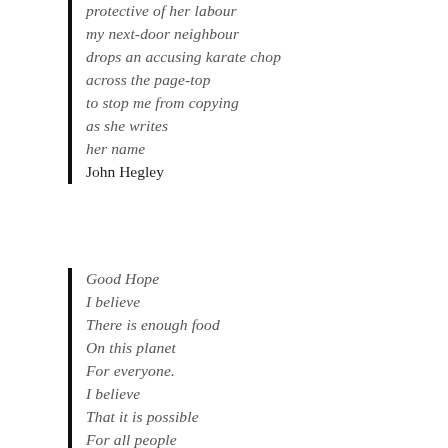protective of her labour
my next-door neighbour
drops an accusing karate chop
across the page-top
to stop me from copying
as she writes
her name
John Hegley
Good Hope
I believe
There is enough food
On this planet
For everyone.
I believe
That it is possible
For all people